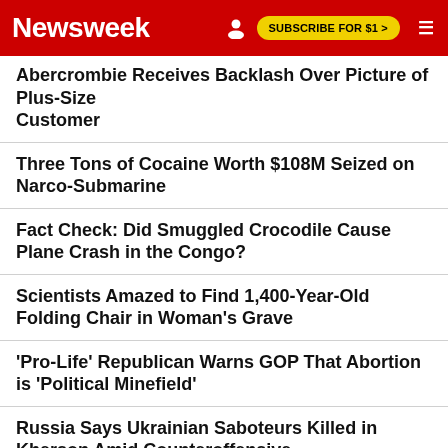Newsweek
Abercrombie Receives Backlash Over Picture of Plus-Size Customer
Three Tons of Cocaine Worth $108M Seized on Narco-Submarine
Fact Check: Did Smuggled Crocodile Cause Plane Crash in the Congo?
Scientists Amazed to Find 1,400-Year-Old Folding Chair in Woman's Grave
'Pro-Life' Republican Warns GOP That Abortion is 'Political Minefield'
Russia Says Ukrainian Saboteurs Killed in Kherson Amid Counteroffensive
Dad Will Attempt 140-Mile Triathlon for Son With Cystic Fibrosis